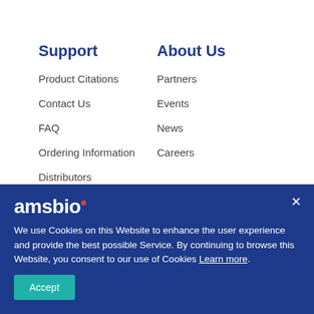Support
About Us
Product Citations
Partners
Contact Us
Events
FAQ
News
Ordering Information
Careers
Distributors
amsbio
We use Cookies on this Website to enhance the user experience and provide the best possible Service. By continuing to browse this Website, you consent to our use of Cookies Learn more.
Accept